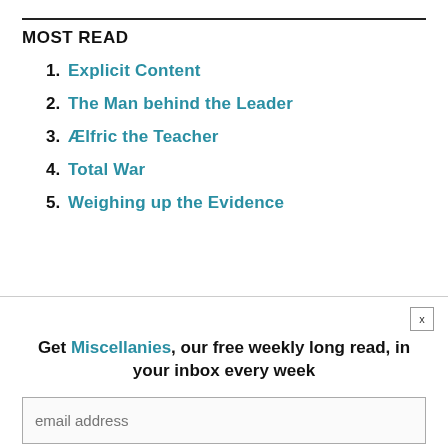MOST READ
1. Explicit Content
2. The Man behind the Leader
3. Ælfric the Teacher
4. Total War
5. Weighing up the Evidence
Get Miscellanies, our free weekly long read, in your inbox every week
email address
Sign Up